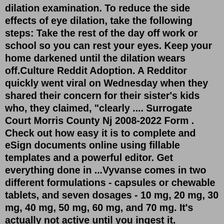dilation examination. To reduce the side effects of eye dilation, take the following steps: Take the rest of the day off work or school so you can rest your eyes. Keep your home darkened until the dilation wears off.Culture Reddit Adoption. A Redditor quickly went viral on Wednesday when they shared their concern for their sister's kids who, they claimed, "clearly .... Surrogate Court Morris County Nj 2008-2022 Form . Check out how easy it is to complete and eSign documents online using fillable templates and a powerful editor. Get everything done in ...Vyvanse comes in two different formulations - capsules or chewable tablets, and seven dosages - 10 mg, 20 mg, 30 mg, 40 mg, 50 mg, 60 mg, and 70 mg. It's actually not active until you ingest it. However, I have been taking the same dose of adderall, which is …. That timing seems to provide me with best build up for work and tapers off quite nicely.Answer (1 of 12): In short, no. It's better to use an Adderall booster later in the day. I highly recommend staying at the lowest Vyvanse dose that works for you. Raising the dose